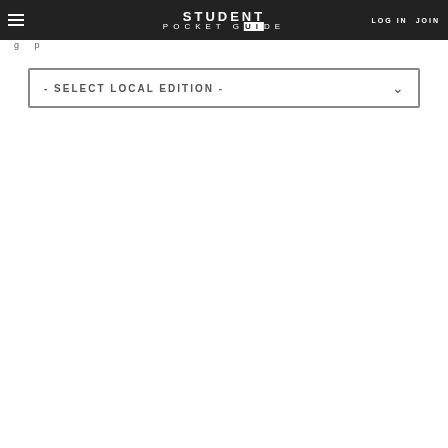STUDENT POCKET GUIDE | LOG IN | JOIN
- SELECT LOCAL EDITION -